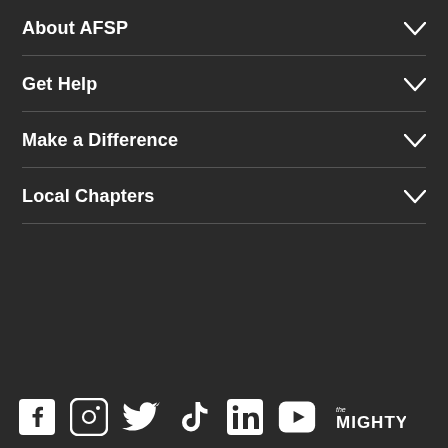About AFSP
Get Help
Make a Difference
Local Chapters
[Figure (infographic): Social media icons row: Facebook, Instagram, Twitter, TikTok, LinkedIn, YouTube, The Mighty logo]